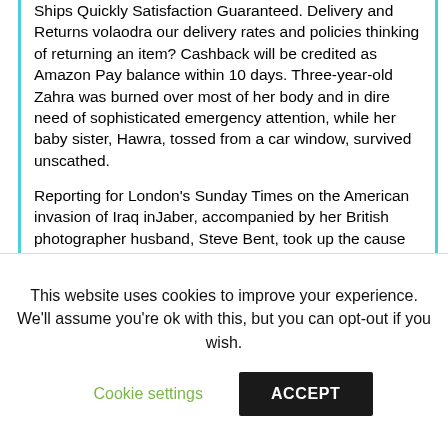Ships Quickly Satisfaction Guaranteed. Delivery and Returns volaodra our delivery rates and policies thinking of returning an item? Cashback will be credited as Amazon Pay balance within 10 days. Three-year-old Zahra was burned over most of her body and in dire need of sophisticated emergency attention, while her baby sister, Hawra, tossed from a car window, survived unscathed.
Reporting for London's Sunday Times on the American invasion of Iraq inJaber, accompanied by her British photographer husband, Steve Bent, took up the cause of numerous hospitalized children grievously wounded in the bombing and helped start a fund to provide them with better medical attention.
This website uses cookies to improve your experience. We'll assume you're ok with this, but you can opt-out if you wish.